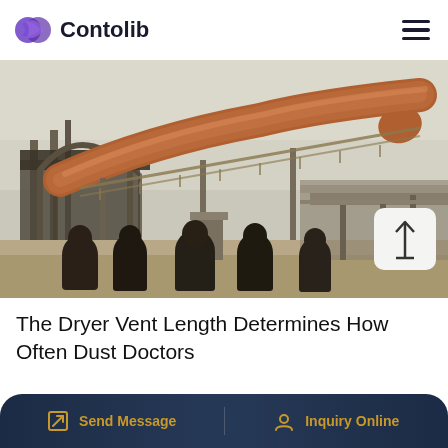Contolib
[Figure (photo): Industrial facility with large pipe/conveyor running diagonally overhead on metal support structures, hazy sky background. Several workers in dark clothing viewed from behind in the foreground.]
The Dryer Vent Length Determines How Often Dust Doctors
Send Message | Inquiry Online